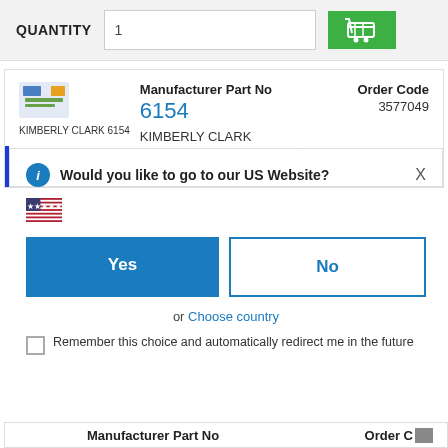QUANTITY  1
Manufacturer Part No
6154
KIMBERLY CLARK
Dispenser, Floor Standing, Feed Roll, Blue
Order Code
3577049
Would you like to go to our US Website?
Yes
No
or  Choose country
Remember this choice and automatically redirect me in the future
Manufacturer Part No   Order Code